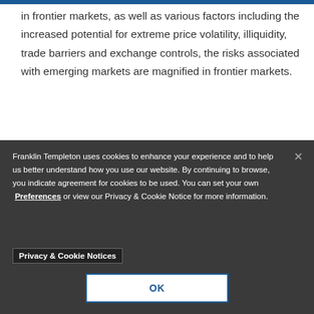in frontier markets, as well as various factors including the increased potential for extreme price volatility, illiquidity, trade barriers and exchange controls, the risks associated with emerging markets are magnified in frontier markets.
1. Source: Sri Lanka Tourism Development Authority, 2014
Franklin Templeton uses cookies to enhance your experience and to help us better understand how you use our website. By continuing to browse, you indicate agreement for cookies to be used. You can set your own Preferences or view our Privacy & Cookie Notice for more information. Privacy & Cookie Notices